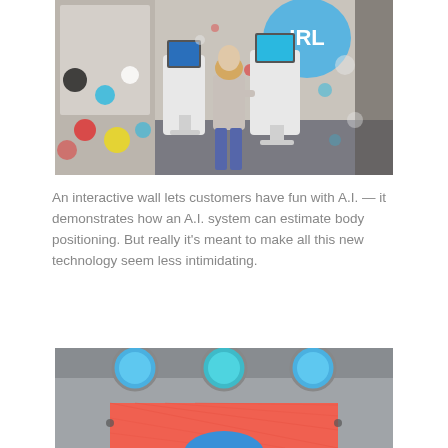[Figure (photo): Interior of a retail or exhibition space with interactive kiosks featuring touchscreens. A woman stands at one of the kiosks using it. Colorful polka dot decorations and a large blue speech bubble sign reading 'IRL' are visible in the background.]
An interactive wall lets customers have fun with A.I. — it demonstrates how an A.I. system can estimate body positioning. But really it's meant to make all this new technology seem less intimidating.
[Figure (photo): Close-up of a machine or installation with circular porthole-like openings in blue and teal, with a red/coral-colored flat surface visible below. Part of the interactive exhibit.]